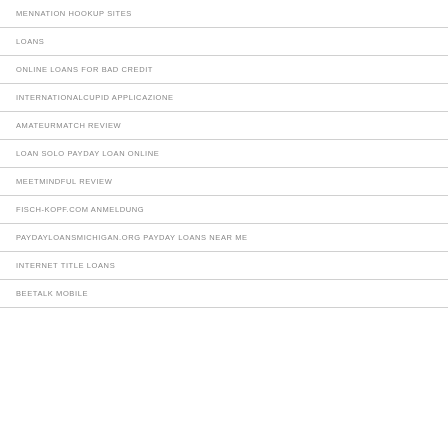MENNATION HOOKUP SITES
LOANS
ONLINE LOANS FOR BAD CREDIT
INTERNATIONALCUPID APPLICAZIONE
AMATEURMATCH REVIEW
LOAN SOLO PAYDAY LOAN ONLINE
MEETMINDFUL REVIEW
FISCH-KOPF.COM ANMELDUNG
PAYDAYLOANSMICHIGAN.ORG PAYDAY LOANS NEAR ME
INTERNET TITLE LOANS
BEETALK MOBILE